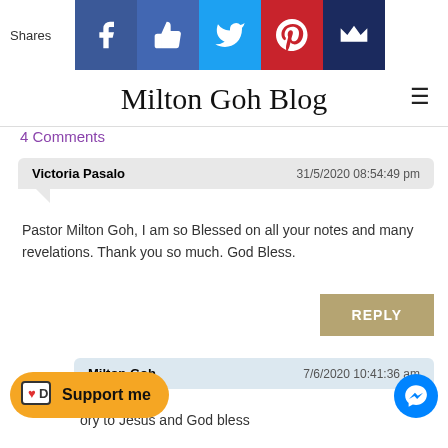Shares | Facebook | Like | Twitter | Pinterest | Crown
Milton Goh Blog
4 Comments
Victoria Pasalo  31/5/2020 08:54:49 pm
Pastor Milton Goh, I am so Blessed on all your notes and many revelations. Thank you so much. God Bless.
REPLY
Milton Goh  7/6/2020 10:41:36 am
ory to Jesus and God bless